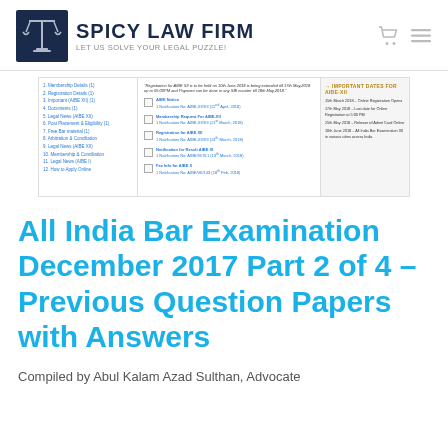SPICY LAW FIRM — LET US SOLVE YOUR LEGAL PUZZLE!
[Figure (screenshot): Screenshot of a webpage showing AIBE (All India Bar Examination) notifications and important dates panel, with a sidebar list of links on the left, checkboxed notification entries in the center, and an 'Important Dates for AIBE-XI' panel on the right.]
All India Bar Examination December 2017 Part 2 of 4 – Previous Question Papers with Answers
Compiled by Abul Kalam Azad Sulthan, Advocate